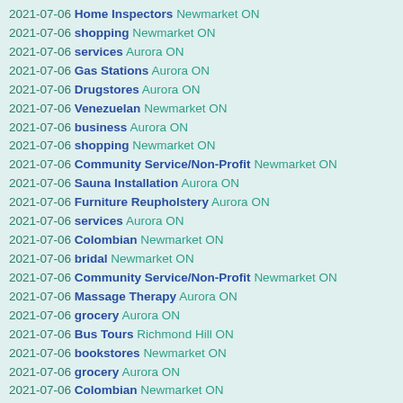2021-07-06 Home Inspectors Newmarket ON
2021-07-06 shopping Newmarket ON
2021-07-06 services Aurora ON
2021-07-06 Gas Stations Aurora ON
2021-07-06 Drugstores Aurora ON
2021-07-06 Venezuelan Newmarket ON
2021-07-06 business Aurora ON
2021-07-06 shopping Newmarket ON
2021-07-06 Community Service/Non-Profit Newmarket ON
2021-07-06 Sauna Installation Aurora ON
2021-07-06 Furniture Reupholstery Aurora ON
2021-07-06 services Aurora ON
2021-07-06 Colombian Newmarket ON
2021-07-06 bridal Newmarket ON
2021-07-06 Community Service/Non-Profit Newmarket ON
2021-07-06 Massage Therapy Aurora ON
2021-07-06 grocery Aurora ON
2021-07-06 Bus Tours Richmond Hill ON
2021-07-06 bookstores Newmarket ON
2021-07-06 grocery Aurora ON
2021-07-06 Colombian Newmarket ON
2021-07-06 Local Services Aurora ON